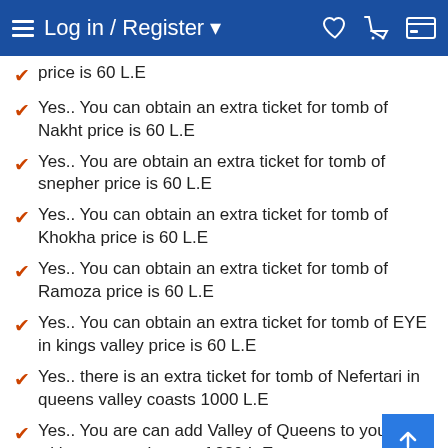Log in / Register
price is 60 L.E
Yes.. You can obtain an extra ticket for tomb of Nakht price is 60 L.E
Yes.. You are obtain an extra ticket for tomb of snepher price is 60 L.E
Yes.. You can obtain an extra ticket for tomb of Khokha price is 60 L.E
Yes.. You can obtain an extra ticket for tomb of Ramoza price is 60 L.E
Yes.. You can obtain an extra ticket for tomb of EYE in kings valley price is 60 L.E
Yes.. there is an extra ticket for tomb of Nefertari in queens valley coasts 1000 L.E
Yes.. You are can add Valley of Queens to your tour with an extra charge of 220 L.E
The distance between Valley of Kings and